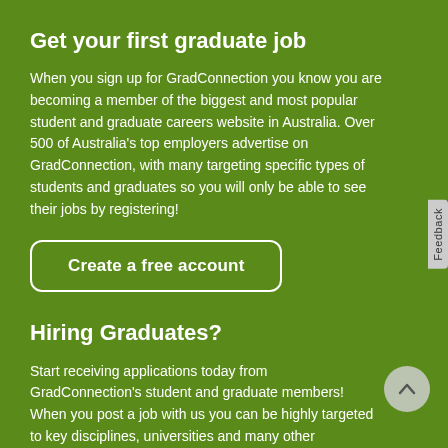Get your first graduate job
When you sign up for GradConnection you know you are becoming a member of the biggest and most popular student and graduate careers website in Australia. Over 500 of Australia's top employers advertise on GradConnection, with many targeting specific types of students and graduates so you will only be able to see their jobs by registering!
Create a free account
Hiring Graduates?
Start receiving applications today from GradConnection's student and graduate members! When you post a job with us you can be highly targeted to key disciplines, universities and many other characteristics to make sure your job ad reaches the right members. Your job will not only appear on our website, it will also be sent to relevant member